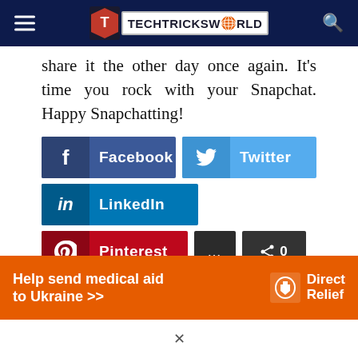TECHTRICKSWORLD
share it the other day once again. It's time you rock with your Snapchat. Happy Snapchatting!
[Figure (infographic): Social share buttons: Facebook, Twitter, LinkedIn, Pinterest, More (...), Share (0)]
YOU MAY ALSO LIKE
[Figure (infographic): Advertisement banner: Help send medical aid to Ukraine >> Direct Relief]